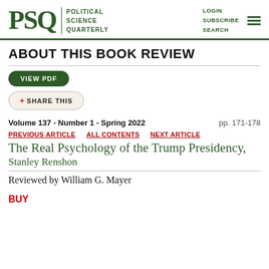PSQ POLITICAL SCIENCE QUARTERLY | LOGIN SUBSCRIBE SEARCH
ABOUT THIS BOOK REVIEW
VIEW PDF
+ SHARE THIS
Volume 137 - Number 1 - Spring 2022   pp. 171-178
PREVIOUS ARTICLE   ALL CONTENTS   NEXT ARTICLE
The Real Psychology of the Trump Presidency, Stanley Renshon
Reviewed by William G. Mayer
BUY